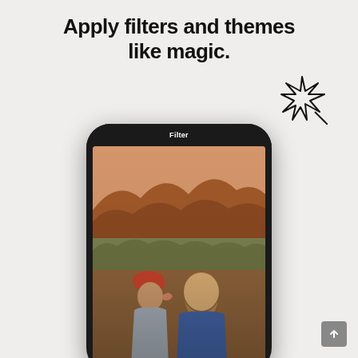Apply filters and themes like magic.
[Figure (illustration): A smartphone mockup showing a photo editing app with 'Filter' label at top. The phone screen displays a couple outdoors — a woman wearing a red hat kissing a smiling bearded man on the cheek, with a red rock canyon landscape in the background. A hand-drawn sparkle/star doodle appears to the upper right of the phone.]